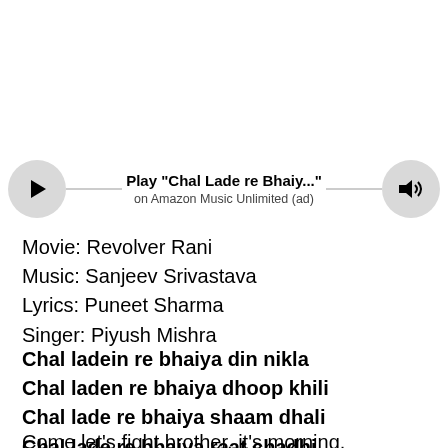[Figure (other): Music player bar with play button, song title 'Play "Chal Lade re Bhaiy..."', subtitle 'on Amazon Music Unlimited (ad)', and sound/volume button]
Movie: Revolver Rani
Music: Sanjeev Srivastava
Lyrics: Puneet Sharma
Singer: Piyush Mishra
Chal ladein re bhaiya din nikla
Chal laden re bhaiya dhoop khili
Chal lade re bhaiya shaam dhali
Chal lade re bhaiya raat chadhi
Come let's fight brother, it's morning.
Come let's fight brother, there is strong sun.
Come let's fight brother, the evening is here.